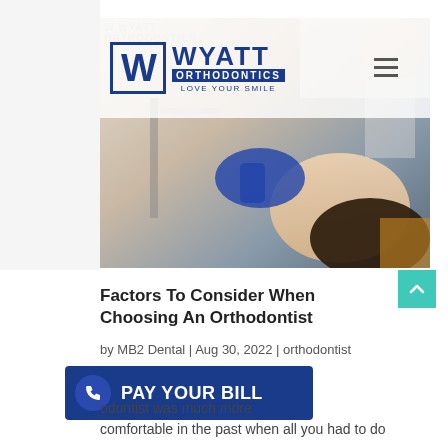[Figure (screenshot): Wyatt Orthodontics website screenshot showing logo with W emblem, WYATT ORTHODONTICS text, LOVE YOUR SMILE tagline, hamburger menu, and a dental procedure photo showing a child patient being examined by an orthodontist wearing blue gloves]
Factors To Consider When Choosing An Orthodontist
by MB2 Dental | Aug 30, 2022 | orthodontist
PAY YOUR BILL
odontist was much more comfortable in the past when all you had to do